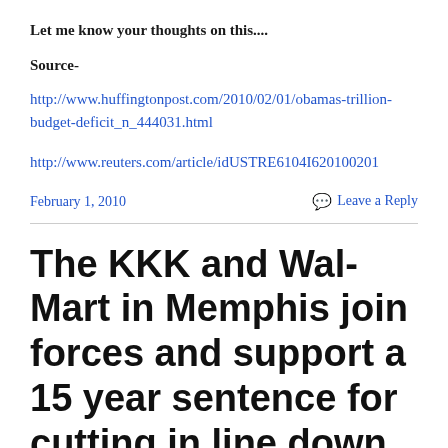Let me know your thoughts on this....
Source-
http://www.huffingtonpost.com/2010/02/01/obamas-trillion-budget-deficit_n_444031.html
http://www.reuters.com/article/idUSTRE6104I620100201
February 1, 2010
Leave a Reply
The KKK and Wal-Mart in Memphis join forces and support a 15 year sentence for cutting in line down in